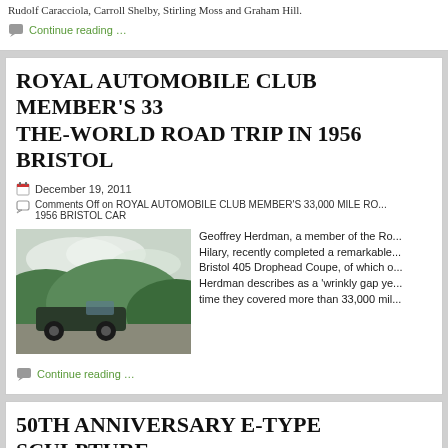Rudolf Caracciola, Carroll Shelby, Stirling Moss and Graham Hill.
Continue reading …
ROYAL AUTOMOBILE CLUB MEMBER'S 33,000 MILE ROUND-THE-WORLD ROAD TRIP IN 1956 BRISTOL CAR
December 19, 2011
Comments Off on ROYAL AUTOMOBILE CLUB MEMBER'S 33,000 MILE ROUND-THE-WORLD ROAD TRIP IN 1956 BRISTOL CAR
[Figure (photo): A classic dark green convertible Bristol 405 Drophead Coupe driving on a mountain road with green hills and clouds in background]
Geoffrey Herdman, a member of the Royal Automobile Club with his wife Hilary, recently completed a remarkable journey in their 1956 Bristol 405 Drophead Coupe, of which only 43 were ever built. Herdman describes as a 'wrinkly gap year' during which time they covered more than 33,000 miles…
Continue reading …
50TH ANNIVERSARY E-TYPE SCULPTURE, RAISE MONEY FOR THE HENRY SURTEES
December 8, 2011